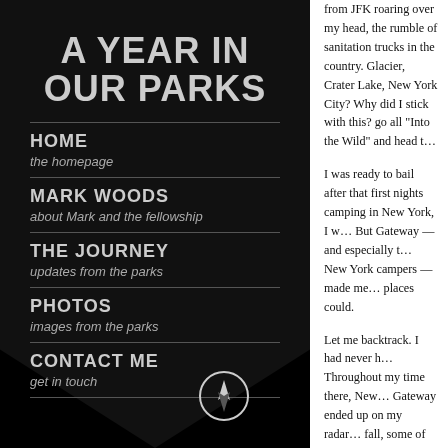A YEAR IN OUR PARKS
HOME
the homepage
MARK WOODS
about Mark and the fellowship
THE JOURNEY
updates from the parks
PHOTOS
images from the parks
CONTACT ME
get in touch
from JFK roaring over my head, the rumble of sanitation trucks in the country. Glacier, Crater Lake, New York City? Why did I stick with this? go all “Into the Wild” and head t…
I was ready to bail after that first nights camping in New York, I w… But Gateway — and especially t… New York campers — made me… places could.
Let me backtrack. I had never h… Throughout my time there, New… Gateway ended up on my radar… fall, some of the National Parks… including it in my journey. It was… Recreation Area. But while Gold… urban parks, Gateway became t… potential, but that for years it ha… mismanaged. They said it was b…
Camping there was a challeng…